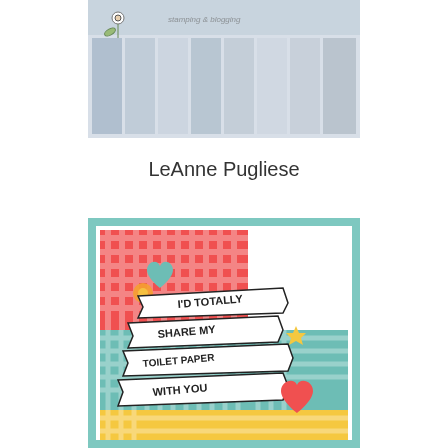[Figure (photo): Photo of craft supplies - paper strips and floral elements in blue/grey tones]
LeAnne Pugliese
[Figure (photo): Handmade greeting card with gingham patterned background in red, teal, and yellow. Banner ribbons read 'I'D TOTALLY SHARE MY TOILET PAPER WITH YOU' with decorative hearts, star, and flower embellishments.]